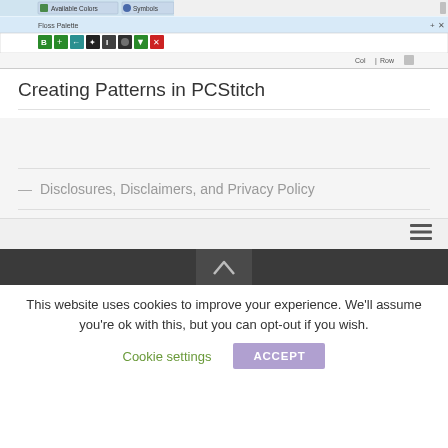[Figure (screenshot): Screenshot of PCStitch software interface showing toolbar with Available Colors and Symbols tabs, Floss Palette panel with toolbar icons, and Col/Row indicators]
Creating Patterns in PCStitch
— Disclosures, Disclaimers, and Privacy Policy
[Figure (screenshot): Hamburger menu icon (three horizontal lines) in navigation bar]
[Figure (screenshot): Dark navigation bar with up chevron/arrow icon in center]
This website uses cookies to improve your experience. We'll assume you're ok with this, but you can opt-out if you wish.
Cookie settings    ACCEPT